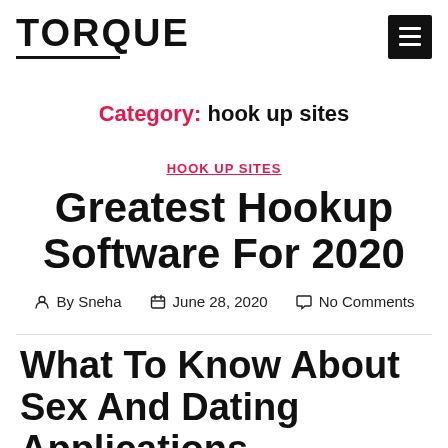TORQUE
Category: hook up sites
HOOK UP SITES
Greatest Hookup Software For 2020
By Sneha   June 28, 2020   No Comments
What To Know About Sex And Dating Applications